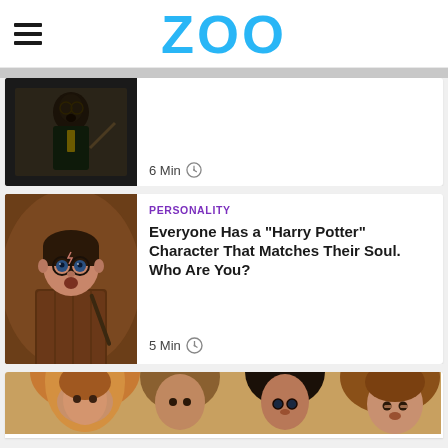ZOO
[Figure (photo): Harry Potter character in dark scene holding wand, partial card view with 6 Min timer]
6 Min
[Figure (photo): Young Harry Potter holding a wand, warm lit scene]
PERSONALITY
Everyone Has a "Harry Potter" Character That Matches Their Soul. Who Are You?
5 Min
[Figure (photo): Harry Potter characters Ron, Harry and Hermione looking serious, partial bottom card]